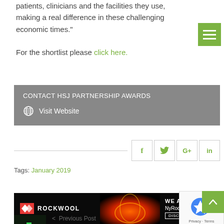patients, clinicians and the facilities they use, making a real difference in these challenging economic times."
For the shortlist please click here.
CONTACT HSJ PARTNERSHIP AWARDS
Visit Website
Tags: January 2019
[Figure (other): ROCKWOOL advertisement banner: WE ARE THE INNOVA - NyRock technology has arrived - DISCOVER NYROCK]
[Figure (other): reCAPTCHA widget showing Privacy - Terms]
< Previous Post TAKE THE STRAIN OUT O...